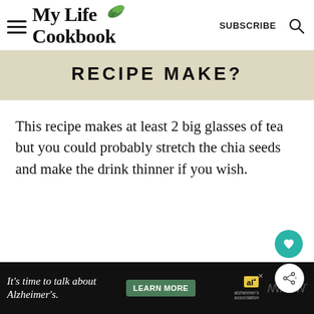My Life Cookbook — SUBSCRIBE
RECIPE MAKE?
This recipe makes at least 2 big glasses of tea but you could probably stretch the chia seeds and make the drink thinner if you wish.
It's time to talk about Alzheimer's. LEARN MORE